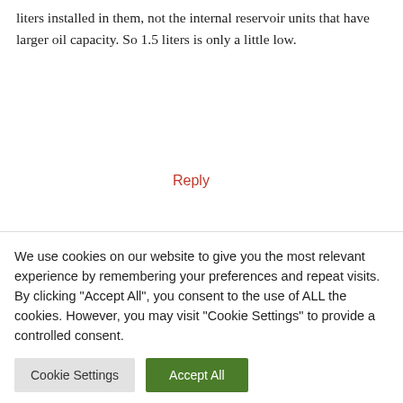liters installed in them, not the internal reservoir units that have larger oil capacity. So 1.5 liters is only a little low.
Reply
Ian Dunn says:
Hi, can you advise if K46 can be purged before re installing in the mower ? Or advise how to top it up once reinstalled in mower, when accessing the black cap and magnet appears to be impossible? Regards
We use cookies on our website to give you the most relevant experience by remembering your preferences and repeat visits. By clicking "Accept All", you consent to the use of ALL the cookies. However, you may visit "Cookie Settings" to provide a controlled consent.